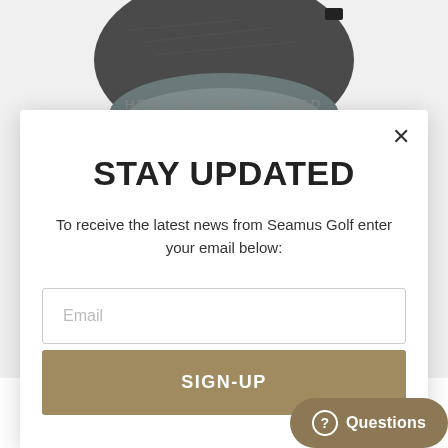[Figure (photo): Dark grey herringbone golf head cover shown from top, partially visible behind modal popup]
STAY UPDATED
To receive the latest news from Seamus Golf enter your email below:
Email
SIGN-UP
Questions
[Figure (photo): Zebra patterned fabric partially visible at bottom of page]